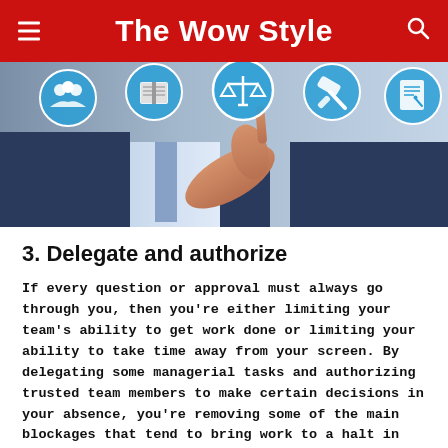The Wow Style
[Figure (photo): A businessman in a suit pointing at floating legal/business icons including people, book, scales of justice, gavel, and document, on a blurred blue background.]
3. Delegate and authorize
If every question or approval must always go through you, then you're either limiting your team's ability to get work done or limiting your ability to take time away from your screen. By delegating some managerial tasks and authorizing trusted team members to make certain decisions in your absence, you're removing some of the main blockages that tend to bring work to a halt in global teams. Instead of waking up to a string of messages asking for your approval and advice,